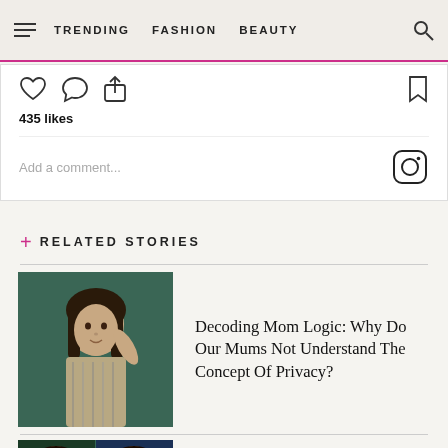TRENDING   FASHION   BEAUTY
[Figure (screenshot): Instagram social interaction strip showing heart, comment, share icons, 435 likes, and Add a comment field with Instagram logo]
+ RELATED STORIES
[Figure (photo): Photo of a woman with dark hair wearing a patterned top, posing with hand near face]
Decoding Mom Logic: Why Do Our Mums Not Understand The Concept Of Privacy?
[Figure (photo): Photo showing two men side by side in a collage]
10 Iconic Roles That Were Almost Played By Other Actors